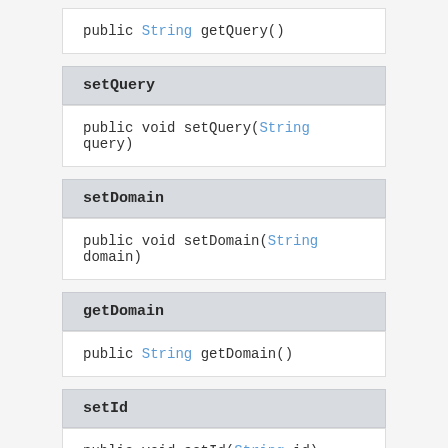public String getQuery()
setQuery
public void setQuery(String query)
setDomain
public void setDomain(String domain)
getDomain
public String getDomain()
setId
public void setId(String id)